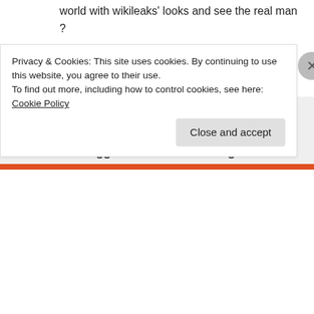world with wikileaks' looks and see the real man ?
Keep up the brutal woman in you ! 😉
↳ Reply
Sandra Hanks on December 4, 2010 at 12:57 pm
Shit. You've twigged to the 'brutal' thing!
Privacy & Cookies: This site uses cookies. By continuing to use this website, you agree to their use.
To find out more, including how to control cookies, see here: Cookie Policy
Close and accept